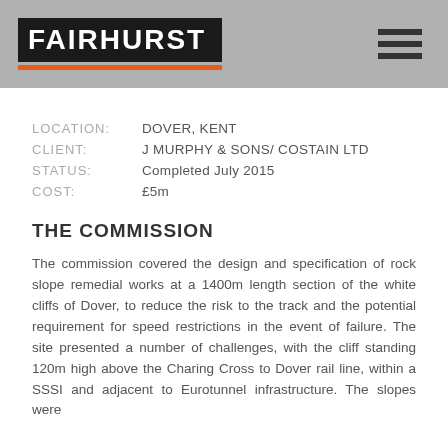FAIRHURST
LOCATION: DOVER, KENT
CLIENT: J MURPHY & SONS/ COSTAIN LTD
STATUS: Completed July 2015
COST: £5m
THE COMMISSION
The commission covered the design and specification of rock slope remedial works at a 1400m length section of the white cliffs of Dover, to reduce the risk to the track and the potential requirement for speed restrictions in the event of failure. The site presented a number of challenges, with the cliff standing 120m high above the Charing Cross to Dover rail line, within a SSSI and adjacent to Eurotunnel infrastructure. The slopes were